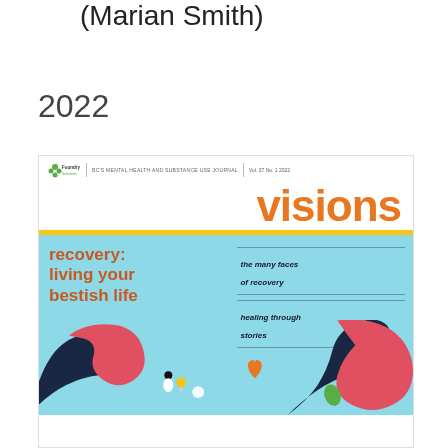(Marian Smith)
2022
[Figure (illustration): Magazine cover of Visions: BC's Mental Health and Substance Use Journal, Vol. 37 No. 1 2022. Title reads 'visions' in large orange text. Cover theme: 'recovery: living your bestish life'. Right side has two text callouts: 'the many faces of recovery' and 'healing through stories'. Bottom portion shows a colorful isometric illustration with abstract ribbon-like shapes in dark navy and coral/pink colors, with small figures, an orange heart, and a green leaf on a light blue background.]